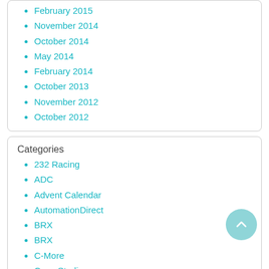February 2015
November 2014
October 2014
May 2014
February 2014
October 2013
November 2012
October 2012
Categories
232 Racing
ADC
Advent Calendar
AutomationDirect
BRX
BRX
C-More
Case Studies
Certification
CLICK